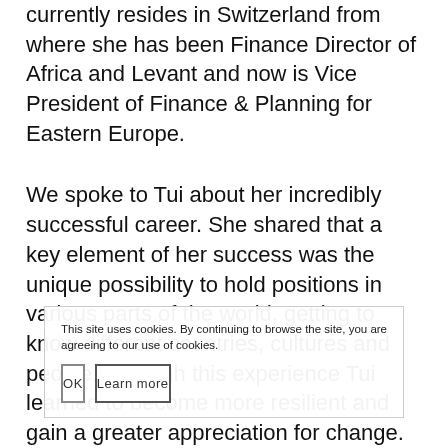currently resides in Switzerland from where she has been Finance Director of Africa and Levant and now is Vice President of Finance & Planning for Eastern Europe.
We spoke to Tui about her incredibly successful career. She shared that a key element of her success was the unique possibility to hold positions in various parts of the world, getting to know different countries, cultures and people. Through this experience Tui learned to become more resilient and gain a greater appreciation for change. She felt fortunate to be able to share these learnings with her two sons who accompanied her to the various places in which she worked.
This site uses cookies. By continuing to browse the site, you are agreeing to our use of cookies.
OK
Learn more